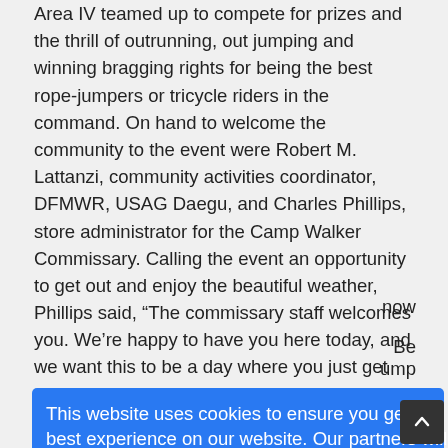Area IV teamed up to compete for prizes and the thrill of outrunning, out jumping and winning bragging rights for being the best rope-jumpers or tricycle riders in the command. On hand to welcome the community to the event were Robert M. Lattanzi, community activities coordinator, DFMWR, USAG Daegu, and Charles Phillips, store administrator for the Camp Walker Commissary. Calling the event an opportunity to get out and enjoy the beautiful weather, Phillips said, “The commissary staff welcomes you. We’re happy to have you here today, and we want this to be a day where you just get out and enjoy the weather and have some fun.” Laying out the events of the day, Lattanzi told the crowd, “It’s a [...]
[Figure (screenshot): Cookie consent overlay with blue background. Text reads: 'This website uses cookies to ensure you get the best experience on our website. Our partners will collect data and use cookies for ad personalization and measurement.' with a link 'Learn how we and our partners collect and use data.' and an OK button.]